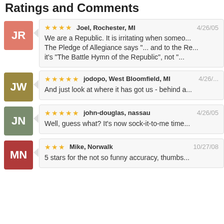Ratings and Comments
JR — Joel, Rochester, MI — 4/26/05 — ★★★★ — We are a Republic. It is irritating when some... The Pledge of Allegiance says "... and to the Re... it's "The Battle Hymn of the Republic", not "...
JW — jodopo, West Bloomfield, MI — 4/26/... — ★★★★★ — And just look at where it has got us - behind a
JN — john-douglas, nassau — 4/26/05 — ★★★★★ — Well, guess what? It's now sock-it-to-me time
MN — Mike, Norwalk — 10/27/08 — ★★★ — 5 stars for the not so funny accuracy, thumbs...